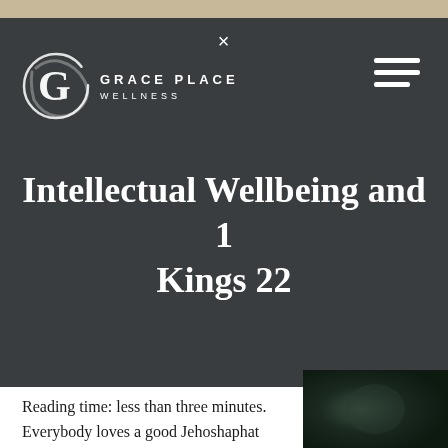[Figure (logo): Grace Place Wellness logo: white brushstroke G in a circle with text GRACE PLACE WELLNESS]
Intellectual Wellbeing and 1 Kings 22
Reading time: less than three minutes. Everybody loves a good Jehoshaphat story (almost as much as a good Zerubbabel story!), but there just